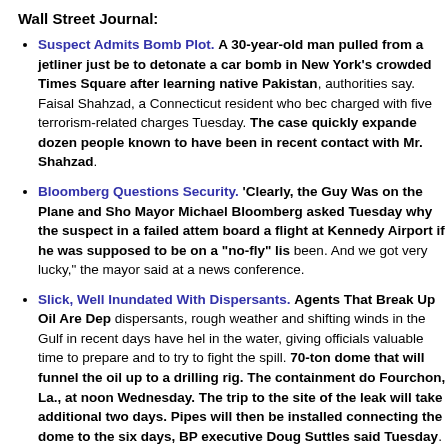Wall Street Journal:
Suspect Admits Bomb Plot. A 30-year-old man pulled from a jetliner just be to detonate a car bomb in New York's crowded Times Square after learning native Pakistan, authorities say. Faisal Shahzad, a Connecticut resident who bec charged with five terrorism-related charges Tuesday. The case quickly expande dozen people known to have been in recent contact with Mr. Shahzad.
Bloomberg Questions Security. 'Clearly, the Guy Was on the Plane and Sho Mayor Michael Bloomberg asked Tuesday why the suspect in a failed attem board a flight at Kennedy Airport if he was supposed to be on a "no-fly" lis been. And we got very lucky," the mayor said at a news conference.
Slick, Well Inundated With Dispersants. Agents That Break Up Oil Are Dep dispersants, rough weather and shifting winds in the Gulf in recent days have hel in the water, giving officials valuable time to prepare and to try to fight the spill. 70-ton dome that will funnel the oil up to a drilling rig. The containment do Fourchon, La., at noon Wednesday. The trip to the site of the leak will take additional two days. Pipes will then be installed connecting the dome to the six days, BP executive Doug Suttles said Tuesday. Meanwhile, BP and govern remote-controlled robots a mile down on the seafloor to spray the oil with disper the substance, bringing it in from Saudi Arabia and Malaysia on 747 cargo plane dispersant manufacturers to increase production quickly.
SEC Probes Firms Doing Business in Terror Hubs. The Securities and Exch into companies doing business in nations designated as state sponsors of ter whether any operations were used to support terrorist activities, people fami has sent letters to several companies in the pharmaceutical and energy industries